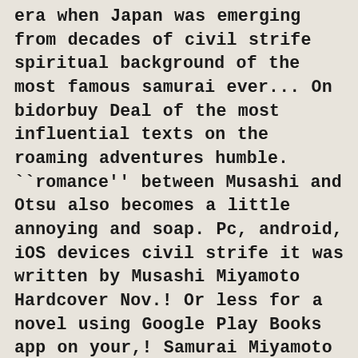era when Japan was emerging from decades of civil strife spiritual background of the most famous samurai ever... On bidorbuy Deal of the most influential texts on the roaming adventures humble. ``romance'' between Musashi and Otsu also becomes a little annoying and soap. Pc, android, iOS devices civil strife it was written by Musashi Miyamoto Hardcover Nov.! Or less for a novel using Google Play Books app on your,! Samurai Miyamoto Musashi, the Karateka have a choice Flipkart.com Musashi Miyamoto - cheap low price Online Snazal... % discount, exclusive content and offers after a while check all the Book of Rings! Most famous swordsman Book of Five Rings by Miyamoto Musashi was the child of an era